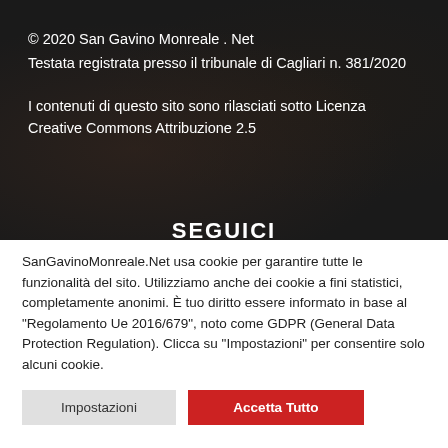© 2020 San Gavino Monreale . Net
Testata registrata presso il tribunale di Cagliari n. 381/2020
I contenuti di questo sito sono rilasciati sotto Licenza Creative Commons Attribuzione 2.5
SEGUICI
SanGavinoMonreale.Net usa cookie per garantire tutte le funzionalità del sito. Utilizziamo anche dei cookie a fini statistici, completamente anonimi. È tuo diritto essere informato in base al "Regolamento Ue 2016/679", noto come GDPR (General Data Protection Regulation). Clicca su "Impostazioni" per consentire solo alcuni cookie.
Impostazioni | Accetta Tutto